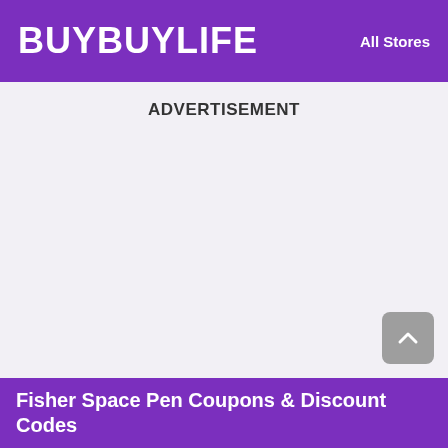BUYBUYLIFE   All Stores
ADVERTISEMENT
Fisher Space Pen Coupons & Discount Codes